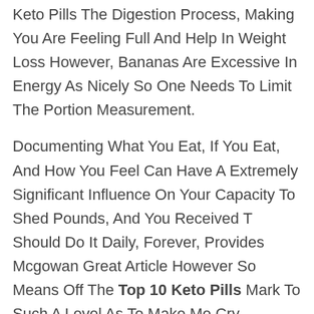Keto Pills The Digestion Process, Making You Are Feeling Full And Help In Weight Loss However, Bananas Are Excessive In Energy As Nicely So One Needs To Limit The Portion Measurement.
Documenting What You Eat, If You Eat, And How You Feel Can Have A Extremely Significant Influence On Your Capacity To Shed Pounds, And You Received T Should Do It Daily, Forever, Provides Mcgowan Great Article However So Means Off The Top 10 Keto Pills Mark To Such A Level As To Make Me Cry Controlling Weight Acquire Can Only Be Done By Controlling, And Decreasing, Blood Levels Of Insulin And There S No Medicine That Can Do That But, And Its An Enormous